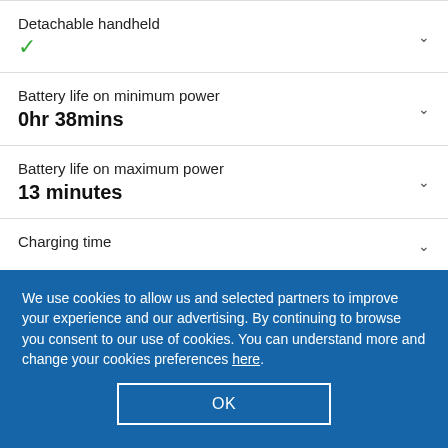Detachable handheld
✓
Battery life on minimum power
0hr 38mins
Battery life on maximum power
13 minutes
Charging time
We use cookies to allow us and selected partners to improve your experience and our advertising. By continuing to browse you consent to our use of cookies. You can understand more and change your cookies preferences here.
OK